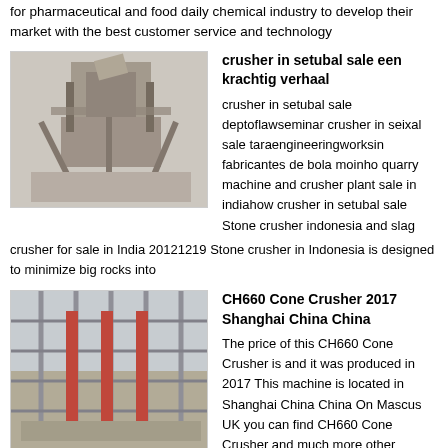for pharmaceutical and food daily chemical industry to develop their market with the best customer service and technology
[Figure (photo): Industrial crusher machine inside a warehouse facility]
crusher in setubal sale een krachtig verhaal
crusher in setubal sale deptoflawseminar crusher in seixal sale taraengineeringworksin fabricantes de bola moinho quarry machine and crusher plant sale in indiahow crusher in setubal sale Stone crusher indonesia and slag crusher for sale in India 20121219 Stone crusher in Indonesia is designed to minimize big rocks into
[Figure (photo): Steel construction frame structure of an industrial building]
CH660 Cone Crusher 2017 Shanghai China China
The price of this CH660 Cone Crusher is and it was produced in 2017 This machine is located in Shanghai China China On Mascus UK you can find CH660 Cone Crusher and much more other models of crushers
[Figure (photo): Partial view of industrial machinery for mining]
germany crusher for mining projects